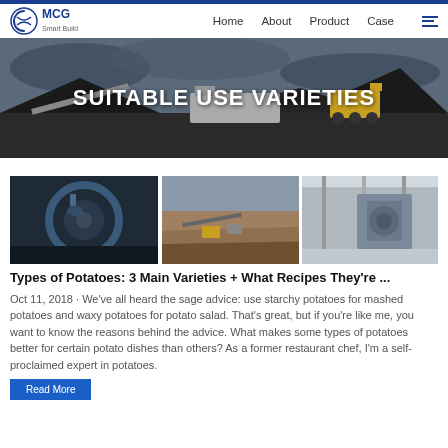MCG | Home | About | Product | Case
[Figure (photo): Industrial mining/crushing machinery with excavator and heavy equipment against cloudy sky, banner image]
SUITABLE USE VARIETIES
[Figure (photo): Three images side by side: left - dark industrial machinery close-up; center - open pit mining operation with equipment; right - interior of industrial facility]
Types of Potatoes: 3 Main Varieties + What Recipes They're ...
Oct 11, 2018 · We've all heard the sage advice: use starchy potatoes for mashed potatoes and waxy potatoes for potato salad. That's great, but if you're like me, you want to know the reasons behind the advice. What makes some types of potatoes better for certain potato dishes than others? As a former restaurant chef, I'm a self-proclaimed expert in potatoes.